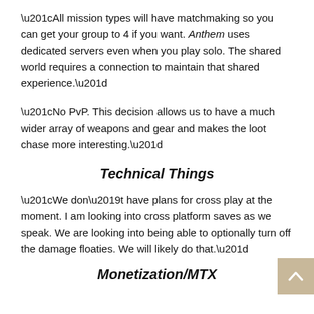“All mission types will have matchmaking so you can get your group to 4 if you want. Anthem uses dedicated servers even when you play solo. The shared world requires a connection to maintain that shared experience.”
“No PvP. This decision allows us to have a much wider array of weapons and gear and makes the loot chase more interesting.”
Technical Things
“We don’t have plans for cross play at the moment. I am looking into cross platform saves as we speak. We are looking into being able to optionally turn off the damage floaties. We will likely do that.”
Monetization/MTX